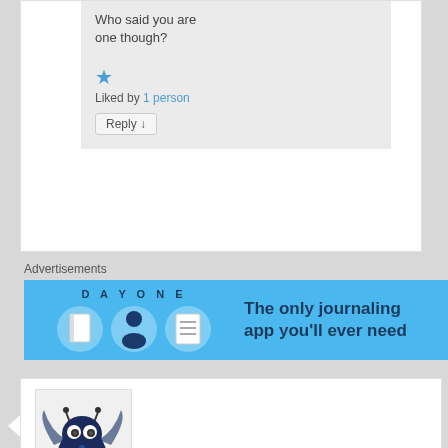Who said you are one though?
Liked by 1 person
Reply ↓
Advertisements
[Figure (screenshot): Day One journaling app advertisement banner with blue background, app icons, and text 'The only journaling app you'll ever need']
Peter on March 10, 2016 at 7:05 am said:
[Figure (illustration): Cartoon bat-like monster avatar with wings and big eyes on light background]